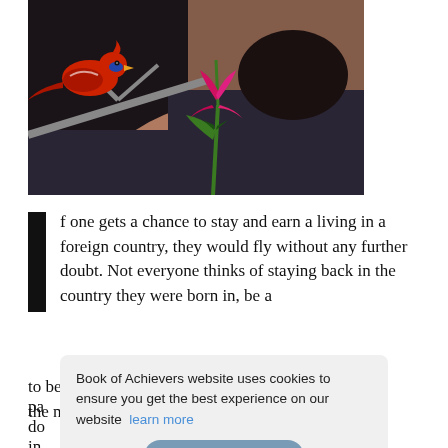[Figure (illustration): Digital illustration of a bearded man wearing a dark hoodie, with a colorful red cardinal bird perched on a bare branch to the left, and a pink/magenta flower on a green stem growing in the foreground.]
If one gets a chance to stay and earn a living in a foreign country, they would fly without any further doubt. Not everyone thinks of staying back in the country they were born in, be a pa[triot...] do[...] ng in[...] Inc[...] id to be seen in the deeds that reflect being a part of the nation's growth. That's what Ashish Chopra
Book of Achievers website uses cookies to ensure you get the best experience on our website  learn more
Ok